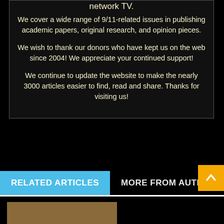network TV.
We cover a wide range of 9/11-related issues in publishing academic papers, original research, and opinion pieces.
We wish to thank our donors who have kept us on the web since 2004! We appreciate your continued support!
We continue to update the website to make the nearly 3000 articles easier to find, read and share. Thanks for visiting us!
RELATED ARTICLES
MORE FROM AUTHOR
[Figure (photo): Partial photo strip at bottom of page]